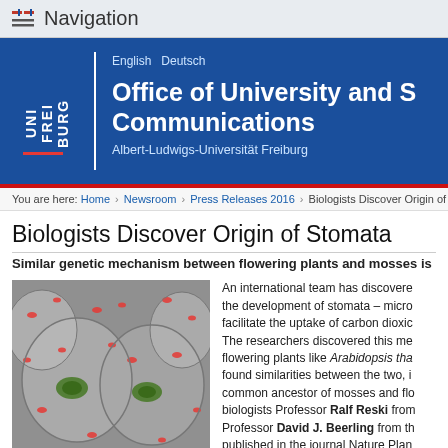Navigation
[Figure (logo): Uni Freiburg logo with text UNI FREIBURG on blue banner, with language links English Deutsch and office title Office of University and Science Communications, Albert-Ludwigs-Universität Freiburg]
You are here: Home › Newsroom › Press Releases 2016 › Biologists Discover Origin of ...
Biologists Discover Origin of Stomata
Similar genetic mechanism between flowering plants and mosses is
[Figure (photo): Fluorescence microscopy of Physcomitrella cells showing two stomata with red fluorescent spots and green centers on grey cells]
Fluorescence microscopy of Physcomitrella cells showing two
An international team has discovered the development of stomata – micro... facilitate the uptake of carbon dioxid... The researchers discovered this me... flowering plants like Arabidopsis tha... found similarities between the two, i... common ancestor of mosses and flo... biologists Professor Ralf Reski from... Professor David J. Beerling from th... published in the journal Nature Plan...